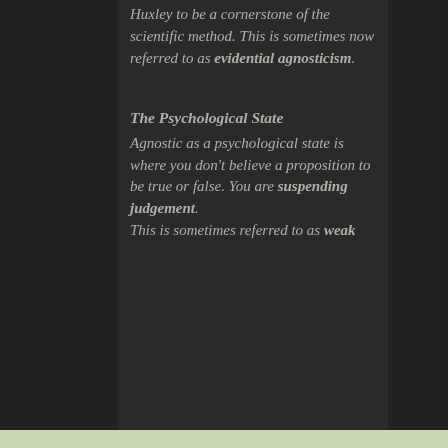Huxley to be a cornerstone of the scientific method. This is sometimes now referred to as evidential agnosticism.
The Psychological State
Agnostic as a psychological state is where you don't believe a proposition to be true or false. You are suspending judgement. This is sometimes referred to as weak